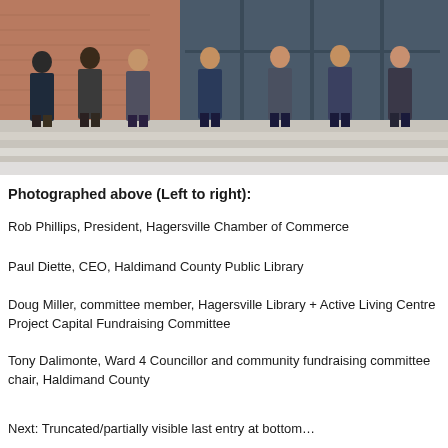[Figure (photo): Group photo of several men standing in front of a modern building facade with brick and glass. The lower portion shows stone/concrete steps.]
Photographed above (Left to right):
Rob Phillips, President, Hagersville Chamber of Commerce
Paul Diette, CEO, Haldimand County Public Library
Doug Miller, committee member, Hagersville Library + Active Living Centre Project Capital Fundraising Committee
Tony Dalimonte, Ward 4 Councillor and community fundraising committee chair, Haldimand County
Next: Truncated/partially visible last entry at bottom